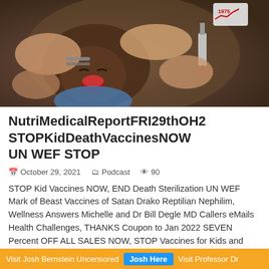[Figure (photo): Photo of a crying child being held down for a vaccination, with a syringe visible. A badge reading '1975' with a red chart arrow appears in the upper right corner.]
NutriMedicalReportFRI29thOH2 STOPKidDeathVaccinesNOW UN WEF STOP
October 29, 2021   Podcast   90
STOP Kid Vaccines NOW, END Death Sterilization UN WEF Mark of Beast Vaccines of Satan Drako Reptilian Nephilim, Wellness Answers Michelle and Dr Bill Degle MD Callers eMails Health Challenges, THANKS Coupon to Jan 2022 SEVEN Percent OFF ALL SALES NOW, STOP Vaccines for Kids and Adults, END of
Visit Josh Bernstein Uncensored   Josh Here   Visit Professor Dr